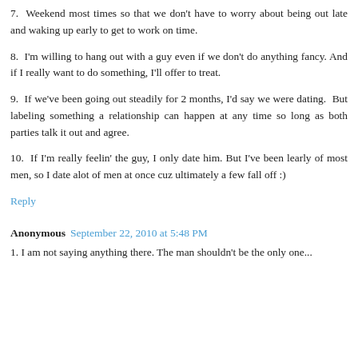7.  Weekend most times so that we don't have to worry about being out late and waking up early to get to work on time.
8.  I'm willing to hang out with a guy even if we don't do anything fancy. And if I really want to do something, I'll offer to treat.
9.  If we've been going out steadily for 2 months, I'd say we were dating.  But labeling something a relationship can happen at any time so long as both parties talk it out and agree.
10.  If I'm really feelin' the guy, I only date him. But I've been learly of most men, so I date alot of men at once cuz ultimately a few fall off :)
Reply
Anonymous  September 22, 2010 at 5:48 PM
1. ...